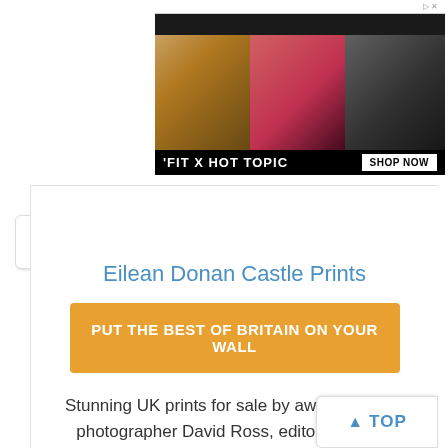[Figure (screenshot): Advertisement banner for 'FIT X HOT TOPIC' featuring three young people against colorful backgrounds, with a 'SHOP NOW' button]
Eilean Donan Castle Prints
PUT THE BEST OF BRITAIN ON YOUR WALL
Stunning UK prints for sale by award-winning photographer David Ross, editor of Britain Express, the UK Travel and Heritage Gu...